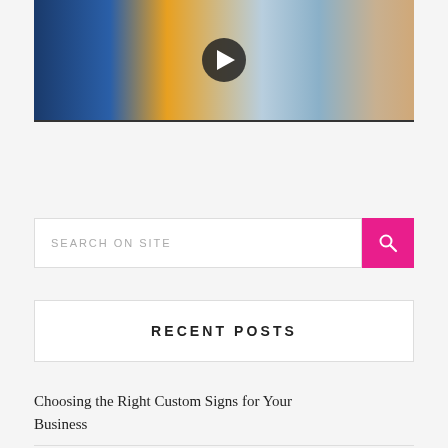[Figure (screenshot): Video thumbnail showing a blue door with geometric shapes on the left and wooden chairs/furniture on the right, with a play button overlay in the center]
SEARCH ON SITE
RECENT POSTS
Choosing the Right Custom Signs for Your Business